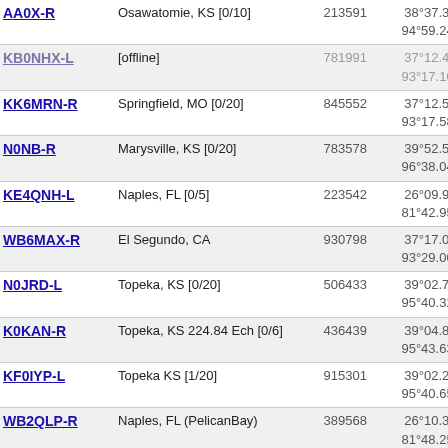| Callsign | Location | Node ID | Coordinates | Grid |  |
| --- | --- | --- | --- | --- | --- |
| AA0X-R | Osawatomie, KS [0/10] | 213591 | 38°37.35' N 94°59.24' W | EM28mb | 5 |
| KB0NHX-L | [offline] | 781991 | 37°12.48' N 93°17.10' W | EM37ie | 5 |
| KK6MRN-R | Springfield, MO [0/20] | 845552 | 37°12.54' N 93°17.58' W | EM37if | 5 |
| N0NB-R | Marysville, KS [0/20] | 783578 | 39°52.56' N 96°38.04' W | EM19qv | 5 |
| KE4QNH-L | Naples, FL [0/5] | 223542 | 26°09.96' N 81°42.95' W | EL96dd | 5 |
| WB6MAX-R | El Segundo, CA | 930798 | 37°17.00' N 93°29.00' W | EM37gg | 5 |
| N0JRD-L | Topeka, KS [0/20] | 506433 | 39°02.76' N 95°40.32' W | EM29db | 5 |
| K0KAN-R | Topeka, KS 224.84 Ech [0/6] | 436439 | 39°04.86' N 95°43.63' W | EM29db | 5 |
| KF0IYP-L | Topeka KS [1/20] | 915301 | 39°02.25' N 95°40.65' W | EM29da | 5 |
| WB2QLP-R | Naples, FL (PelicanBay) | 389568 | 26°10.39' N 81°48.25' W | EL96ce | 5 |
| N4KGL-R | Panama City | 655391 | 30°14.24' N 85°47.48' W | EM70cf | 5 |
| KL7SRK-R | Sitka, AK USA [0/20] | 903536 | 57°03.18' N 135°19.80' W | CO27ib | 5 |
| K5GIJ-L | In Conference *GEEKJEEP* | 976262 | 35°53.26' N 92°06.18' W | EM35wv | 5 |
| K5GIJ-R | In Conference | 976261 | 35°53.26' N | EM35wv | 5 |